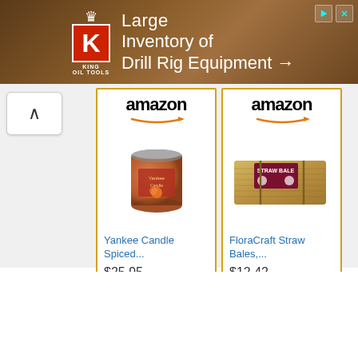[Figure (screenshot): King Oil Tools advertisement banner. Shows King Oil Tools logo (red K in box with crown) and text 'Large Inventory of Drill Rig Equipment →' on a dark brown/rust background with drill equipment visible. Ad controls (play/close buttons) in top right.]
[Figure (screenshot): Two Amazon product advertisement cards side by side. Left card: Amazon logo, Yankee Candle Spiced... product image (orange candle jar), price $25.95, Shop now button. Right card: Amazon logo, FloraCraft Straw Bales,... product image (straw bale package), price $12.42, Shop now button. Both cards have gold/yellow border and Shop now buttons.]